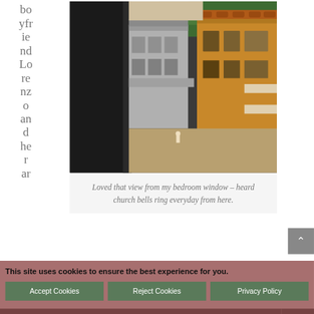boyfriend Lorenzo and her ar
[Figure (photo): Aerial view of Venice rooftops with terracotta tiles, old buildings, and a courtyard with a small figure, viewed from a bedroom window]
Loved that view from my bedroom window – heard church bells ring everyday from here.
This site uses cookies to ensure the best experience for you. Accept Cookies | Reject Cookies | Privacy Policy | Share This | ✕